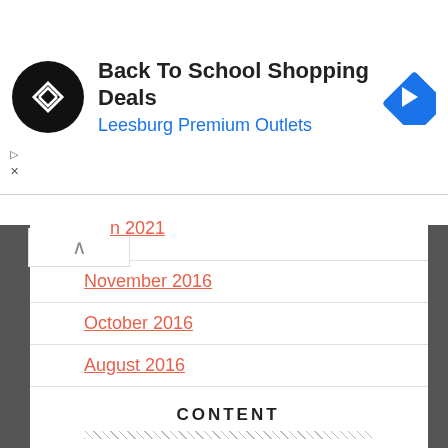[Figure (screenshot): Ad banner for Back To School Shopping Deals at Leesburg Premium Outlets with logo and navigation arrow icon]
[partial date 2021]
November 2016
October 2016
August 2016
CONTENT
and Breaking Travel News Business CEO experience first free hotel Hotels in including Industry International International Travel News IT minister most